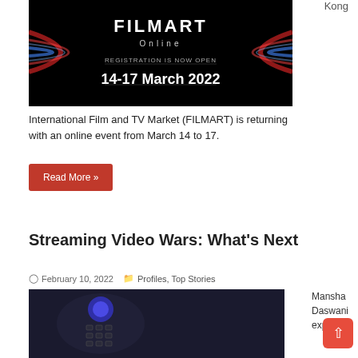Kong
[Figure (photo): FILMART Online banner - black background with colorful light streaks, text: FILMART Online, REGISTRATION IS NOW OPEN, 14-17 March 2022]
International Film and TV Market (FILMART) is returning with an online event from March 14 to 17.
Read More »
Streaming Video Wars: What’s Next
February 10, 2022   Profiles, Top Stories
[Figure (photo): Close-up photo of a remote control with a blue button in dark lighting]
Mansha Daswani explores
[Figure (photo): Marriage TV show advertisement banner - dark background with actors, yellow MARRIAGE title text, subtitle: A celebration of the hardship and wonder of love, with Forge and All3Media logos]